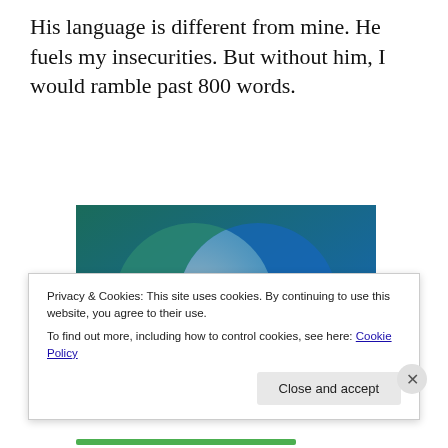His language is different from mine. He fuels my insecurities. But without him, I would ramble past 800 words.
[Figure (infographic): Venn diagram with two overlapping circles on a blue/teal gradient background. Left circle labeled 'Everything you need', right circle labeled 'Anything you want'. The overlapping region is a lighter blue-gray.]
Privacy & Cookies: This site uses cookies. By continuing to use this website, you agree to their use.
To find out more, including how to control cookies, see here: Cookie Policy